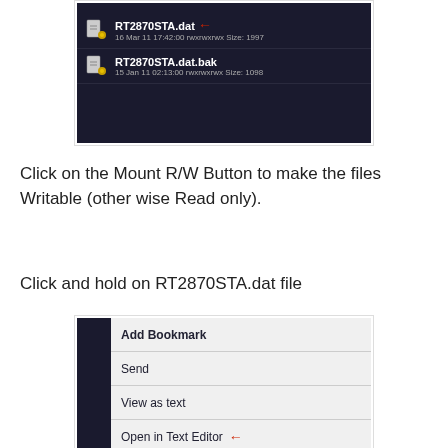[Figure (screenshot): File manager screenshot showing RT2870STA.dat (16 Mar 11 17:42:00 rwxrwxrwx Size: 1997) with red arrow pointing to it, and RT2870STA.dat.bak (15 Jan 11 02:13:00 rwxrwxrwx Size: 1098) on a dark background.]
Click on the Mount R/W Button to make the files Writable (other wise Read only).
Click and hold on RT2870STA.dat file
[Figure (screenshot): Context menu screenshot showing options: Add Bookmark, Send, View as text, Open in Text Editor (with red arrow pointing to it).]